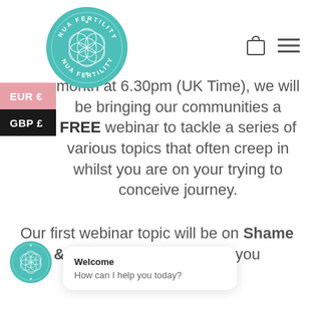[Figure (logo): NUA Fertility circular logo in teal/mint green with geometric flower of life pattern and text 'NUA FERTILITY' around the border]
EUR €
GBP £
month at 6.30pm (UK Time), we will be bringing our communities a FREE webinar to tackle a series of various topics that often creep in whilst you are on your trying to conceive journey.
Our first webinar topic will be on Shame & Guilt, and we hope that you can join.
[Figure (logo): Small NUA Fertility circular logo in teal/mint green, bottom left corner]
Welcome
How can I help you today?